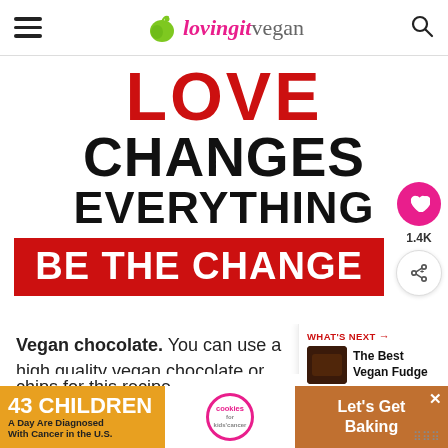lovingitvegan
[Figure (illustration): Motivational graphic with text: LOVE CHANGES EVERYTHING / BE THE CHANGE. LOVE is in red, CHANGES EVERYTHING in black bold, BE THE CHANGE on a red background.]
Vegan chocolate. You can use a high quality vegan chocolate or vegan chocolate chips for this recipe.
[Figure (photo): Small thumbnail of vegan fudge next to WHAT'S NEXT label and text 'The Best Vegan Fudge']
[Figure (infographic): Advertisement bar: '43 CHILDREN A Day Are Diagnosed With Cancer in the U.S.' with cookies for kids cancer logo and Let's Get Baking button]